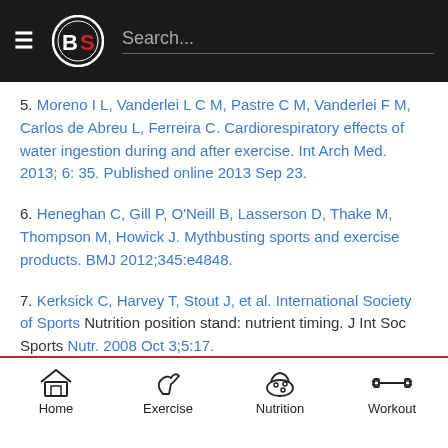BS [logo] Search...
5. Moreno I L, Vanderlei L C M, Pastre C M, Vanderlei F M, Carlos de Abreu L, Ferreira C. Cardiorespiratory effects of water ingestion during and after exercise. Int Arch Med. 2013; 6: 35. Published online 2013 Sep 23.
6. Heneghan C, Gill P, O'Neill B, Lasserson D, Thake M, Thompson M, Howick J. Mythbusting sports and exercise products. BMJ 2012;345:e4848.
7. Kerksick C, Harvey T, Stout J, et al. International Society of Sports Nutrition position stand: nutrient timing. J Int Soc Sports Nutr. 2008 Oct 3;5:17.
Home | Exercise | Nutrition | Workout